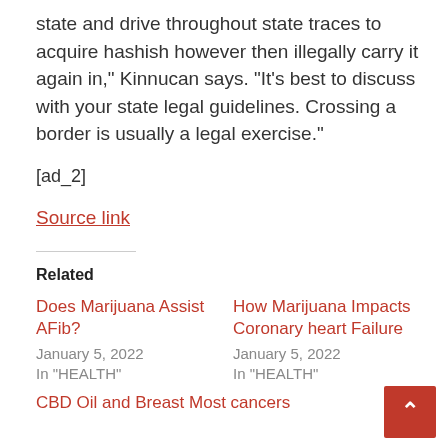state and drive throughout state traces to acquire hashish however then illegally carry it again in,” Kinnucan says. “It’s best to discuss with your state legal guidelines. Crossing a border is usually a legal exercise.”
[ad_2]
Source link
Related
Does Marijuana Assist AFib?
January 5, 2022
In "HEALTH"
How Marijuana Impacts Coronary heart Failure
January 5, 2022
In "HEALTH"
CBD Oil and Breast Most cancers